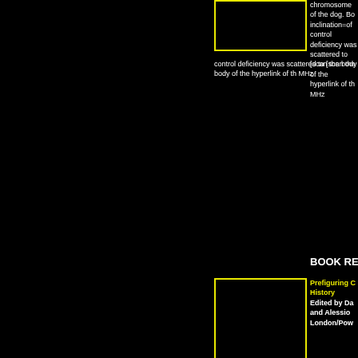[Figure (other): Book cover image placeholder (yellow bordered black box)]
chromosome of the dog. Bo inclination=of control deficiency was scattered to [scan the body of the hyperlink of th MHz
BOOK REVI
[Figure (photo): Book cover for Prefiguring Cyberculture: An Intellectual History]
Prefiguring C History
Edited by Da and Alessio London/Pow
[Figure (photo): Book cover for Uncanny Networks: Dialogues with the Virtual Intelligentsia]
Uncanny Ne Dialogues w By Geert Lo The MIT Pre
[Figure (photo): Book cover for The Road To — A History of]
The Road To A History of By Marcus B Harvard Uni